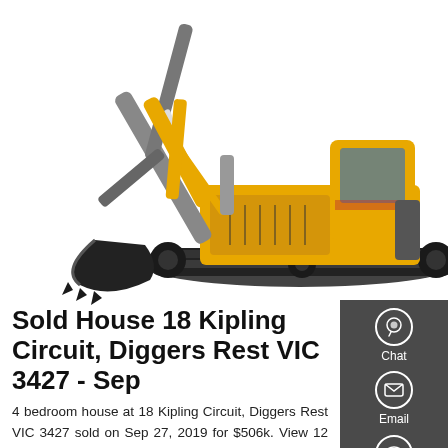[Figure (photo): Yellow excavator/digger construction machine on white background, shown in profile with arm extended]
Sold House 18 Kipling Circuit, Diggers Rest VIC 3427 - Sep
4 bedroom house at 18 Kipling Circuit, Diggers Rest VIC 3427 sold on Sep 27, 2019 for $506k. View 12 photos, floorplans, schools and neighbourhood info on Homely.
[Figure (infographic): Dark grey sidebar panel with Chat icon (headset), red divider, Email icon (envelope), red divider, and Contact icon (speech bubble)]
Get a Quote